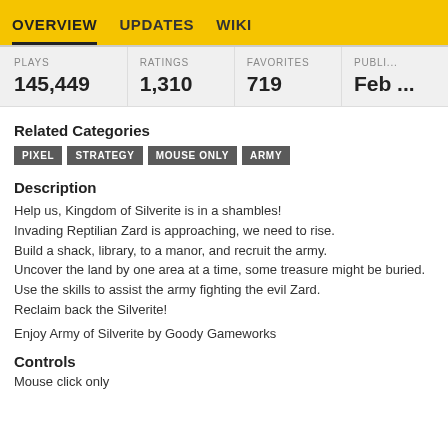OVERVIEW   UPDATES   WIKI
| PLAYS | RATINGS | FAVORITES | PUBLI... |
| --- | --- | --- | --- |
| 145,449 | 1,310 | 719 | Feb ... |
Related Categories
PIXEL
STRATEGY
MOUSE ONLY
ARMY
Description
Help us, Kingdom of Silverite is in a shambles!
Invading Reptilian Zard is approaching, we need to rise.
Build a shack, library, to a manor, and recruit the army.
Uncover the land by one area at a time, some treasure might be buried.
Use the skills to assist the army fighting the evil Zard.
Reclaim back the Silverite!
Enjoy Army of Silverite by Goody Gameworks
Controls
Mouse click only